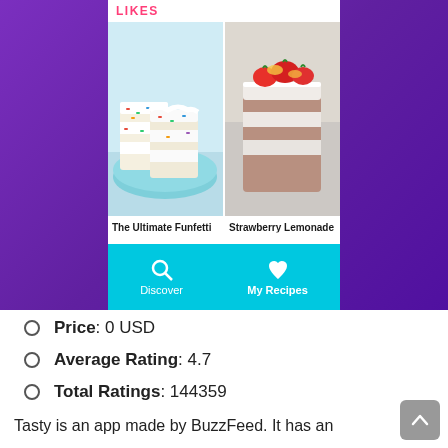[Figure (screenshot): Mobile app screenshot showing a recipe app (Tasty by BuzzFeed) with a 'LIKES' section displaying two cake images: 'The Ultimate Funfetti' and 'Strawberry Lemonade', with a teal navigation bar at bottom showing Discover and My Recipes tabs.]
Price: 0 USD
Average Rating: 4.7
Total Ratings: 144359
Tasty is an app made by BuzzFeed. It has an